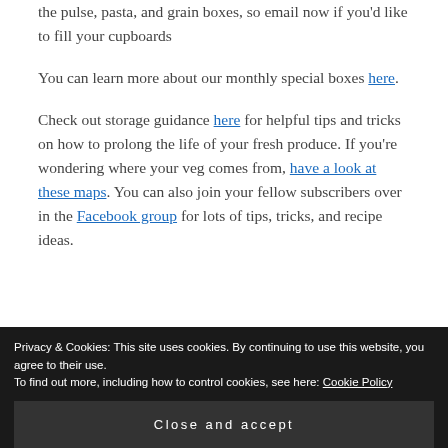the pulse, pasta, and grain boxes, so email now if you'd like to fill your cupboards
You can learn more about our monthly special boxes here.
Check out storage guidance here for helpful tips and tricks on how to prolong the life of your fresh produce. If you're wondering where your veg comes from, have a look at these maps. You can also join your fellow subscribers over in the Facebook group for lots of tips, tricks, and recipe ideas.
Privacy & Cookies: This site uses cookies. By continuing to use this website, you agree to their use. To find out more, including how to control cookies, see here: Cookie Policy
Close and accept